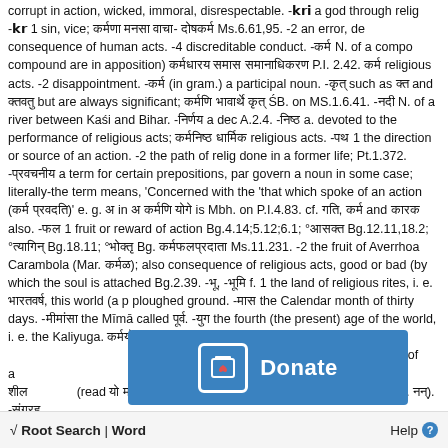corrupt in action, wicked, immoral, disrespectable. -[script] a god through relig -[script] 1 sin, vice; [script] [script] [script]- [script] Ms.6.61,95. -2 an error, de consequence of human acts. -4 discreditable conduct. -[script] N. of a compo compound are in apposition) [script] [script] [script] P.I. 2.42. [script] religious acts. -2 disappointment. -[script] (in gram.) a participal noun. -[script] such as [script] and [script] but are always significant; [script] [script] [script] ŚB. on MS.1.6.41. -[script] N. of a river between Kaśi and Bihar. -[script] a dec A.2.4. -[script] a. devoted to the performance of religious acts; [script] [script] religious acts. -[script] 1 the direction or source of an action. -2 the path of relig done in a former life; Pt.1.372. -[script] a term for certain prepositions, par govern a noun in some case; literally-the term means, 'Concerned with the 'that which spoke of an action ([script] [script])' e. g. [script] in [script] [script] [script] is Mbh. on P.I.4.83. cf. [script], [script] and [script] also. -[script] 1 fruit or reward of action Bg.4.14;5.12;6.1; °[script] Bg.12.11,18.2; °[script] Bg.18.11; °[script] Bg. [script] Ms.11.231. -2 the fruit of Averrhoa Carambola (Mar. [script]); also consequence of religious acts, good or bad (by which the soul is attached Bg.2.39. -[script], -[script] f. 1 the land of religious rites, i. e. [script], this world (a p ploughed ground. -[script] the Calendar month of thirty days. -[script] the Mīmā called [script]. -[script] the fourth (the present) age of the world, i. e. the Kaliyuga. [script] Bg.3.3;3.7;5.2;13.24. -2 active [script] (considered as the inevitable result of a [script] a l assiduous, active, laborious; cf. [script]- [script] [script] (read [script] [script] [script] [script] [script][script] [script] [script] [script]-[script] &c. [script]). -[script]
[Figure (other): Donate button overlay with book/document icon and 'Donate' text on blue background]
√ Root Search | Word    Help